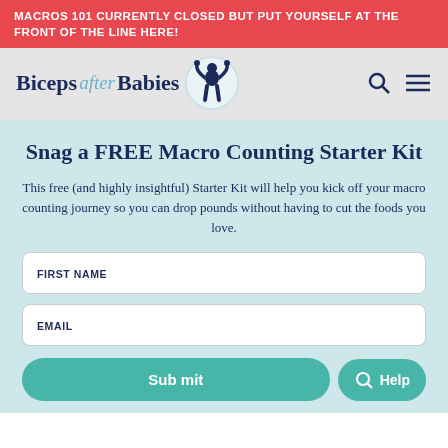MACROS 101 CURRENTLY CLOSED BUT PUT YOURSELF AT THE FRONT OF THE LINE HERE!
[Figure (logo): Biceps after Babies logo with stylized woman flexing, navigation bar with search and menu icons]
Snag a FREE Macro Counting Starter Kit
This free (and highly insightful) Starter Kit will help you kick off your macro counting journey so you can drop pounds without having to cut the foods you love.
FIRST NAME
EMAIL
Submit
Help